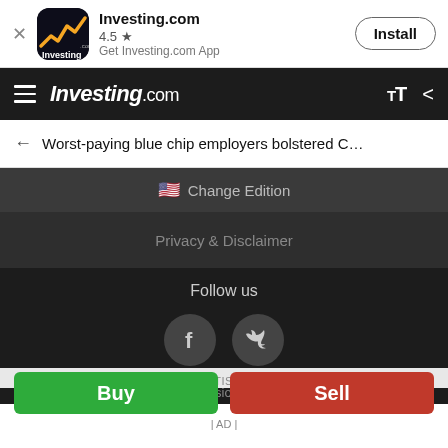[Figure (screenshot): Investing.com app banner with logo, 4.5 star rating, and Install button]
Investing.com
Worst-paying blue chip employers bolstered C…
Change Edition
Privacy & Disclaimer
Follow us
[Figure (logo): Facebook icon circle]
[Figure (logo): Twitter icon circle]
© 2007-2022 Fusion Media Limited.
ADVERTISEMENT
Buy
Sell
| AD |